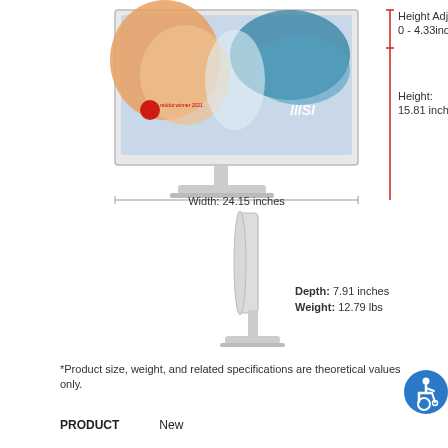[Figure (engineering-diagram): Front view of MSI monitor with dimension annotations. Shows height adjustment range 0-4.33 inches (red vertical line), overall height 15.81 inches. Width dimension line shown at bottom.]
Width: 24.15 inches
[Figure (engineering-diagram): Side view of MSI monitor showing depth and weight. Depth: 7.91 inches, Weight: 12.79 lbs.]
*Product size, weight, and related specifications are theoretical values only.
PRODUCT    New
[Figure (infographic): Blue circular accessibility icon with white wheelchair symbol.]